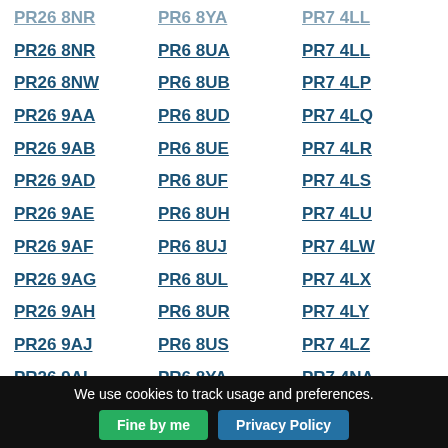PR26 8NR
PR6 8UA
PR7 4LL
PR26 8NW
PR6 8UB
PR7 4LP
PR26 9AA
PR6 8UD
PR7 4LQ
PR26 9AB
PR6 8UE
PR7 4LR
PR26 9AD
PR6 8UF
PR7 4LS
PR26 9AE
PR6 8UH
PR7 4LU
PR26 9AF
PR6 8UJ
PR7 4LW
PR26 9AG
PR6 8UL
PR7 4LX
PR26 9AH
PR6 8UR
PR7 4LY
PR26 9AJ
PR6 8US
PR7 4LZ
PR26 9AL
PR6 8YA
PR7 4NA
PR26 9AN
PR6 9AD
PR7 4NB
We use cookies to track usage and preferences.
Fine by me
Privacy Policy